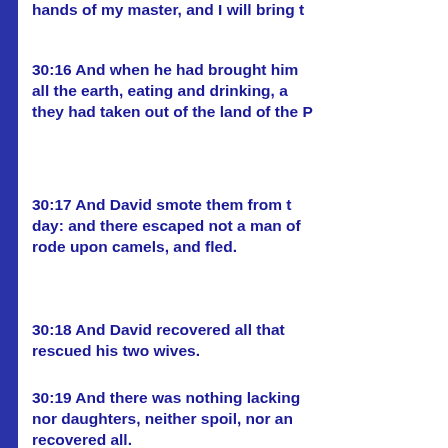hands of my master, and I will bring t
30:16 And when he had brought him all the earth, eating and drinking, a they had taken out of the land of the P
30:17 And David smote them from t day: and there escaped not a man o rode upon camels, and fled.
30:18 And David recovered all that rescued his two wives.
30:19 And there was nothing lacking nor daughters, neither spoil, nor an recovered all.